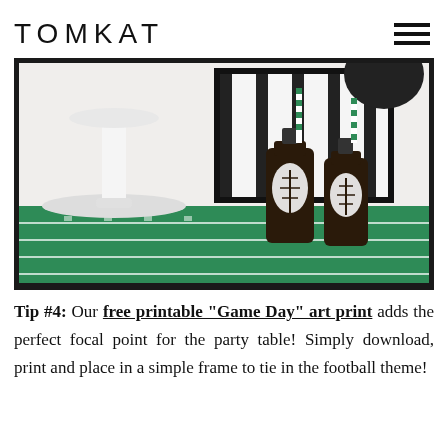TOMKAT
[Figure (photo): Football-themed party table with green field-style table runner, two dark glass bottles with football label designs and green striped paper straws, a white pedestal lamp, and a framed black and white striped artwork in the background.]
Tip #4: Our free printable "Game Day" art print adds the perfect focal point for the party table! Simply download, print and place in a simple frame to tie in the football theme!